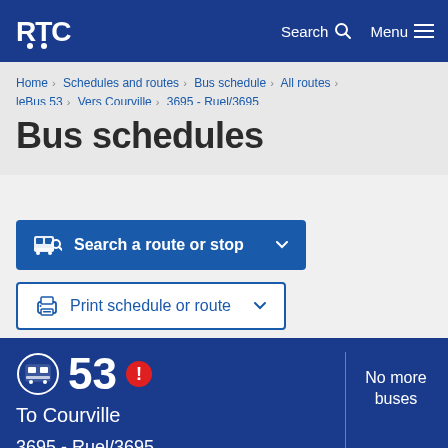RTC | Search | Menu
Home > Schedules and routes > Bus schedule > All routes > leBus 53 > Vers Courville > 3695 - Ruel/3695
Bus schedules
Search a route or stop
Print schedule or route
53 To Courville 3695 - Ruel/3695 103e Rue / Ruel | No more buses